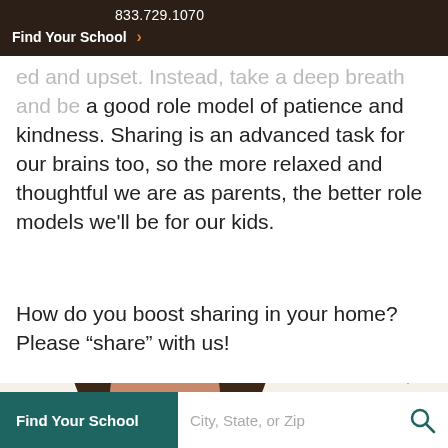833.729.1070  Find Your School >
ed and upset. Instead, take a deep breath and be a good role model of patience and kindness. Sharing is an advanced task for our brains too, so the more relaxed and thoughtful we are as parents, the better role models we'll be for our kids.
How do you boost sharing in your home? Please “share” with us!
[Figure (photo): Circular portrait photo of a woman with brown hair, partially visible, set on a cream/beige background. A teal 'TOP' scroll button appears to the right.]
Find Your School  City, State, or Zip